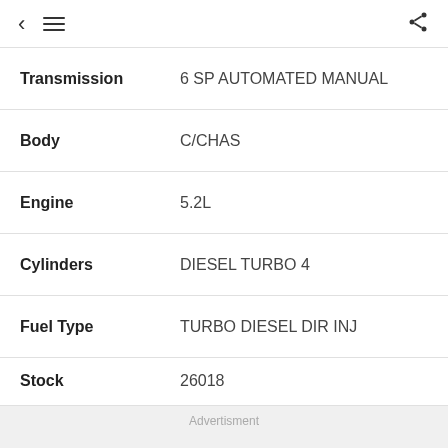< ≡  share
| Field | Value |
| --- | --- |
| Transmission | 6 SP AUTOMATED MANUAL |
| Body | C/CHAS |
| Engine | 5.2L |
| Cylinders | DIESEL TURBO 4 |
| Fuel Type | TURBO DIESEL DIR INJ |
| Stock | 26018 |
Advertisment